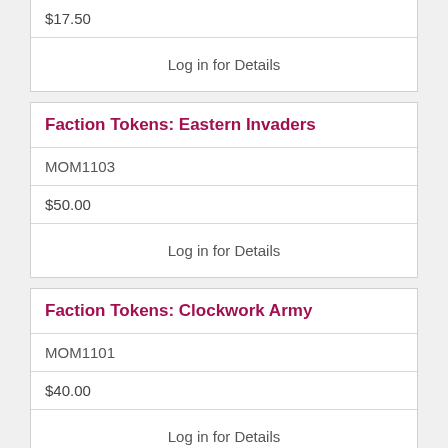$17.50
Log in for Details
Faction Tokens: Eastern Invaders
MOM1103
$50.00
Log in for Details
Faction Tokens: Clockwork Army
MOM1101
$40.00
Log in for Details
Status Effects: AIM / FIRED
MOM1040